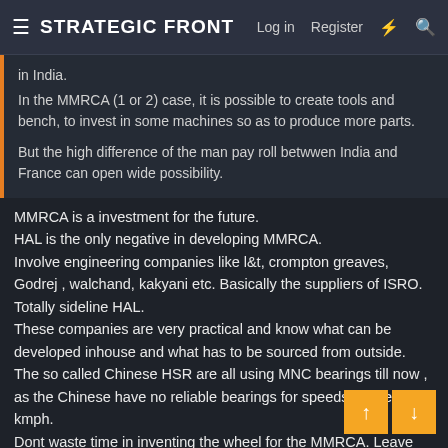≡ STRATEGIC FRONT   Log in   Register
in India.
In the MMRCA (1 or 2) case, it is possible to create tools and bench, to invest in some machines so as to produce more parts.

But the high difference of the man pay roll betwwen India and France can open wide possibility.
MMRCA is a investment for the future.
HAL is the only negative in developing MMRCA.
Involve engineering companies like l&t, crompton greaves, Godrej , walchand, kakyani etc. Basically the suppliers of ISRO.
Totally sideline HAL.
These companies are very practical and know what can be developed inhouse and what has to be sourced from outside.
The so called Chinese HSR are all using MNC bearings till now , as the Chinese have no reliable bearings for speeds above 160 kmph.
Dont waste time in inventing the wheel for the MMRCA. Leave that for the next iteration.
Biggest loser in India is the tata group that has invested 100000 crores in uk in the last 12 years and has lost most if it. In tatas the worst head tata has ever had.